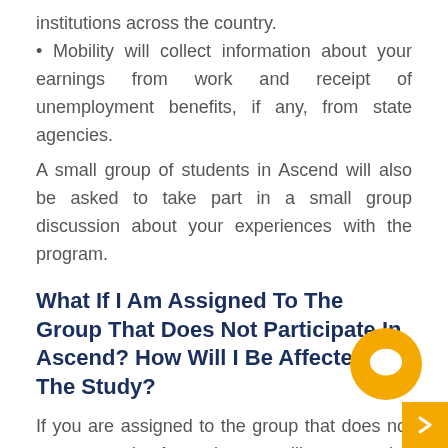institutions across the country.
• Mobility will collect information about your earnings from work and receipt of unemployment benefits, if any, from state agencies.
A small group of students in Ascend will also be asked to take part in a small group discussion about your experiences with the program.
What If I Am Assigned To The Group That Does Not Participate In Ascend? How Will I Be Affected By The Study?
If you are assigned to the group that does not participate in Ascend, you will not receive services from Ascend but you may continue to attend classes and receive any other services offered by the college or by other agencies in the